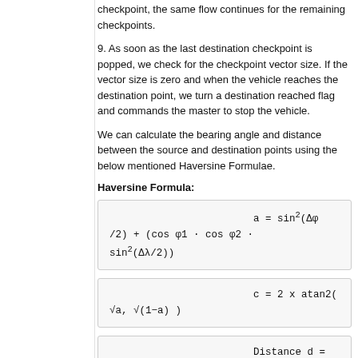checkpoint, the same flow continues for the remaining checkpoints.
9. As soon as the last destination checkpoint is popped, we check for the checkpoint vector size. If the vector size is zero and when the vehicle reaches the destination point, we turn a destination reached flag and commands the master to stop the vehicle.
We can calculate the bearing angle and distance between the source and destination points using the below mentioned Haversine Formulae.
Haversine Formula: